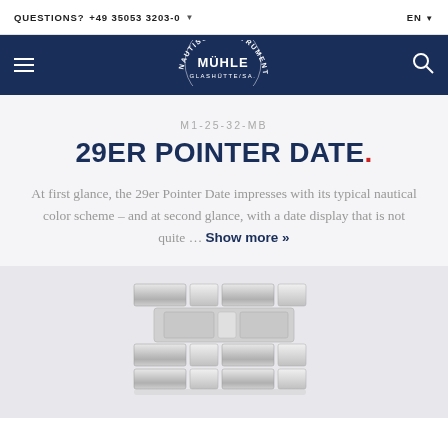QUESTIONS?  +49 35053 3203-0   EN
[Figure (logo): Mühle Glashütte nautische Instrumente circular logo in white on dark navy navigation bar]
M1-25-32-MB
29ER POINTER DATE.
At first glance, the 29er Pointer Date impresses with its typical nautical color scheme – and at second glance, with a date display that is not quite ... Show more »
[Figure (photo): Partial view of a silver metal watch bracelet on a light grey background, cropped at the bottom of the page]